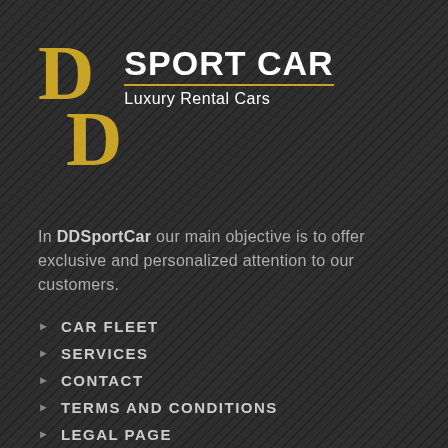DD SPORT CAR Luxury Rental Cars
In DDSportCar our main objective is to offer exclusive and personalized attention to our customers.
CAR FLEET
SERVICES
CONTACT
TERMS AND CONDITIONS
LEGAL PAGE
CANCELLATION POLICY